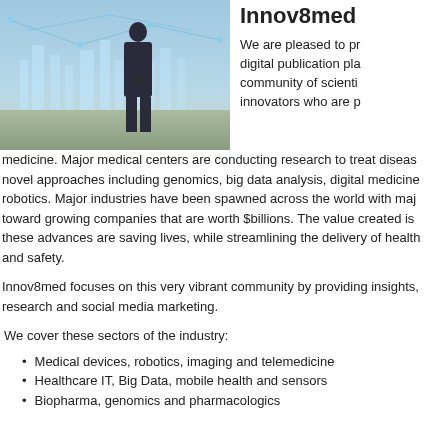[Figure (photo): A man in a dark suit standing with hands clasped behind his back, facing a glowing digital cityscape with network diagrams and technology graphics overlaid.]
Innov8med
We are pleased to present a digital publication platform to a community of scientists and innovators who are pioneering medicine. Major medical centers are conducting research to treat diseases using novel approaches including genomics, big data analysis, digital medicine and robotics. Major industries have been spawned across the world with major funds directed toward growing companies that are worth $billions. The value created is enormous while these advances are saving lives, while streamlining the delivery of healthcare services and safety.
Innov8med focuses on this very vibrant community by providing insights, news, research and social media marketing.
We cover these sectors of the industry:
Medical devices, robotics, imaging and telemedicine
Healthcare IT, Big Data, mobile health and sensors
Biopharma, genomics and pharmacologics